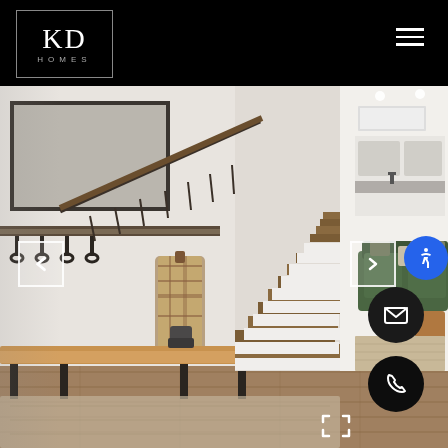[Figure (logo): KD Homes logo in white text with border, on black header bar]
[Figure (photo): Interior home photo showing mudroom with wooden bench, coat hooks, staircase with wood treads and metal railing, shiplap accent wall, and living room with green sofa visible at right]
[Figure (other): Navigation left arrow button (previous image)]
[Figure (other): Navigation right arrow button (next image)]
[Figure (other): Blue accessibility icon button]
[Figure (other): Dark circular email/envelope button]
[Figure (other): Dark circular phone button]
[Figure (other): Fullscreen expand corner brackets icon]